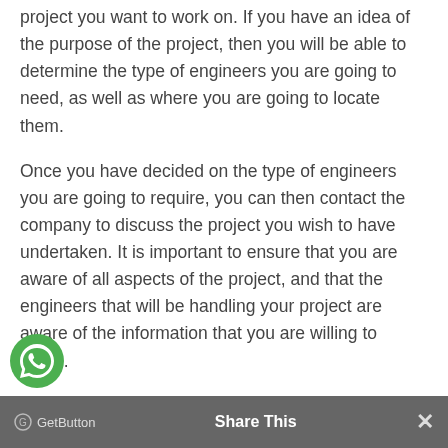project you want to work on. If you have an idea of the purpose of the project, then you will be able to determine the type of engineers you are going to need, as well as where you are going to locate them.
Once you have decided on the type of engineers you are going to require, you can then contact the company to discuss the project you wish to have undertaken. It is important to ensure that you are aware of all aspects of the project, and that the engineers that will be handling your project are aware of the information that you are willing to share.
It is very important to find a project that has a high level of responsibility. There is nothing worse than a project that has a lot of other people in the company working on it, because that can often lead to complications in your project. Therefore, make sure that the project that you are working on is something that is going to require a lot of attention, especially
[Figure (other): WhatsApp chat button (green circle with WhatsApp logo)]
GetButton  Share This  ✕